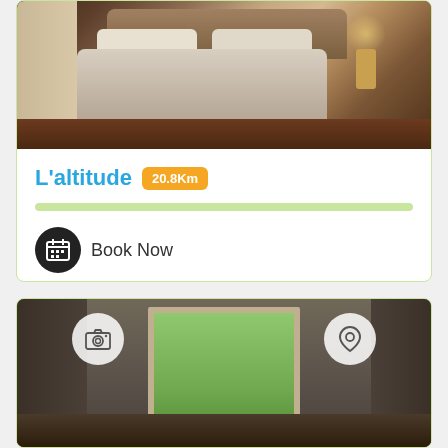[Figure (photo): Bedroom photo showing a large bed with light colored bedding, a lamp on a nightstand, hardwood floor, and light walls]
L'altitude
20.8Km
Book Now
[Figure (photo): Room interior photo showing an open window with a view of green trees/garden outside, bedroom interior visible]